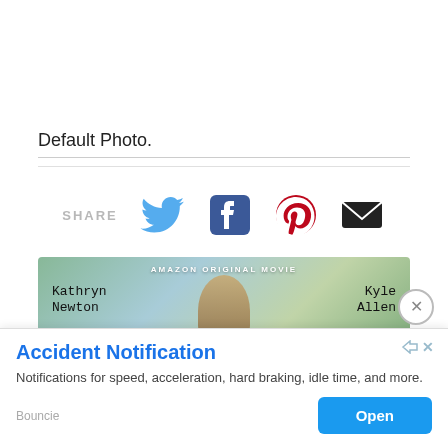Default Photo.
[Figure (screenshot): Share row with Twitter, Facebook, Pinterest, and email icons alongside SHARE label]
[Figure (photo): Amazon Original Movie banner with actors Kathryn Newton and Kyle Allen]
[Figure (screenshot): Accident Notification ad banner from Bouncie with Open button and close X button]